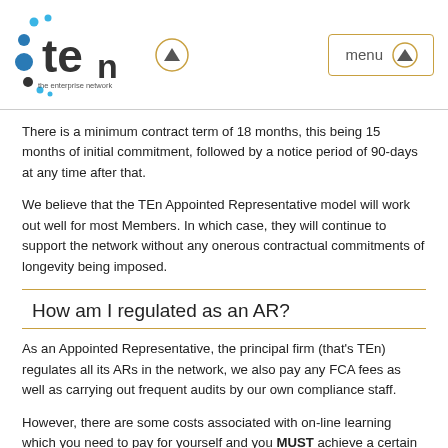[Figure (logo): TEn - the enterprise network logo with blue and dark circular dots and text]
There is a minimum contract term of 18 months, this being 15 months of initial commitment, followed by a notice period of 90-days at any time after that.
We believe that the TEn Appointed Representative model will work out well for most Members. In which case, they will continue to support the network without any onerous contractual commitments of longevity being imposed.
How am I regulated as an AR?
As an Appointed Representative, the principal firm (that's TEn) regulates all its ARs in the network, we also pay any FCA fees as well as carrying out frequent audits by our own compliance staff.
However, there are some costs associated with on-line learning which you need to pay for yourself and you MUST achieve a certain number of hours learning per year.